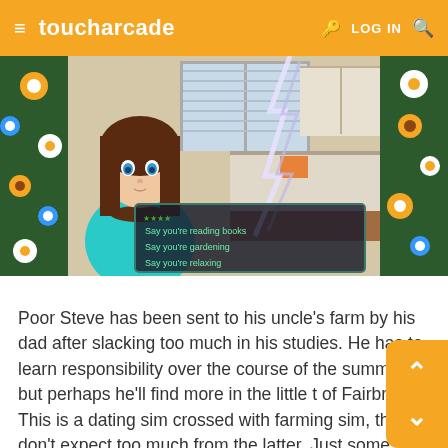toucharcade  LOG IN
[Figure (screenshot): Visual novel / dating sim game screenshot showing an anime-style girl with brown hair and blue eyes wearing a teal tank top, with a dialogue choice menu showing options: 'Say you're reading books', 'Say you're gardening', 'Say you're relaxing'. Floral borders on the sides, kitchen background.]
Poor Steve has been sent to his uncle's farm by his dad after slacking too much in his studies. He has to learn responsibility over the course of the summer, but perhaps he'll find more in the little t of Fairbrook? This is a dating sim crossed with farming sim, though don't expect too much from the latter. Just some basic crop-raising and selling.